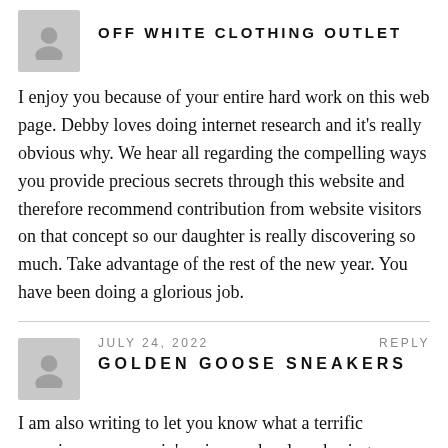[Figure (illustration): Gray avatar/user placeholder icon]
OFF WHITE CLOTHING OUTLET
I enjoy you because of your entire hard work on this web page. Debby loves doing internet research and it's really obvious why. We hear all regarding the compelling ways you provide precious secrets through this website and therefore recommend contribution from website visitors on that concept so our daughter is really discovering so much. Take advantage of the rest of the new year. You have been doing a glorious job.
[Figure (illustration): Gray avatar/user placeholder icon]
JULY 24, 2022
REPLY
GOLDEN GOOSE SNEAKERS
I am also writing to let you know what a terrific experience my cousin's princess developed using